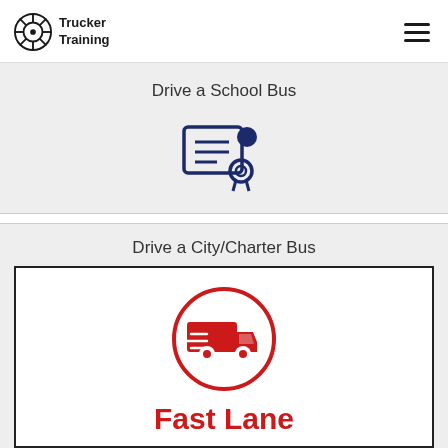[Figure (logo): Trucker Training logo with gear/wheel icon and text 'Trucker Training']
Drive a School Bus
[Figure (illustration): Dark navy blue certificate/license icon with a person silhouette badge]
Drive a City/Charter Bus
[Figure (illustration): Red delivery truck icon inside a red circle outline]
Fast Lane
Faster Training Requirements...